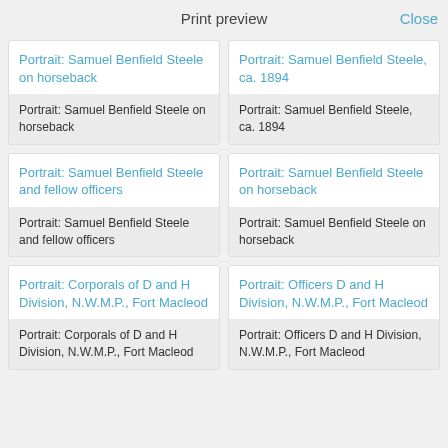Print preview  Close
Portrait: Samuel Benfield Steele on horseback
Portrait: Samuel Benfield Steele on horseback
Portrait: Samuel Benfield Steele, ca. 1894
Portrait: Samuel Benfield Steele, ca. 1894
Portrait: Samuel Benfield Steele and fellow officers
Portrait: Samuel Benfield Steele and fellow officers
Portrait: Samuel Benfield Steele on horseback
Portrait: Samuel Benfield Steele on horseback
Portrait: Corporals of D and H Division, N.W.M.P., Fort Macleod
Portrait: Corporals of D and H Division, N.W.M.P., Fort Macleod
Portrait: Officers D and H Division, N.W.M.P., Fort Macleod
Portrait: Officers D and H Division, N.W.M.P., Fort Macleod